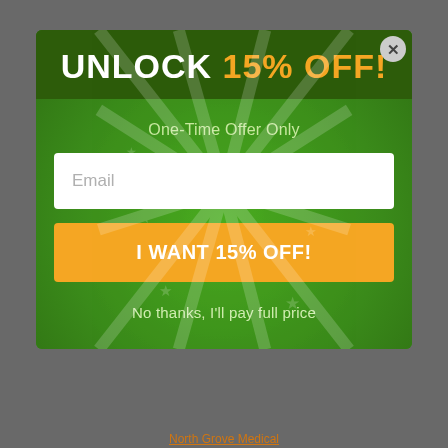UNLOCK 15% OFF!
One-Time Offer Only
Email
I WANT 15% OFF!
No thanks, I'll pay full price
North Grove Medical